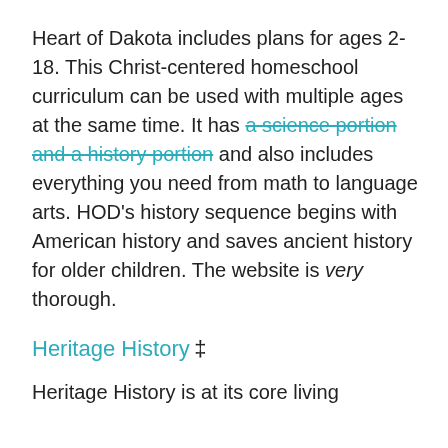Heart of Dakota includes plans for ages 2-18. This Christ-centered homeschool curriculum can be used with multiple ages at the same time. It has a science portion and a history portion and also includes everything you need from math to language arts. HOD's history sequence begins with American history and saves ancient history for older children. The website is very thorough.
Heritage History ‡
Heritage History is at its core living